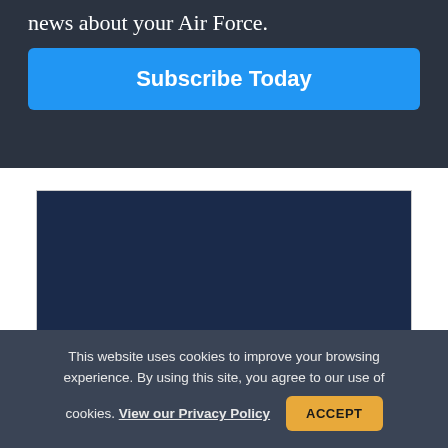news about your Air Force.
Subscribe Today
[Figure (infographic): Dark navy blue promotional card with bold text reading 'GET HELPFUL BUDGETING' in yellow and white italic uppercase letters]
This website uses cookies to improve your browsing experience. By using this site, you agree to our use of cookies. View our Privacy Policy
ACCEPT